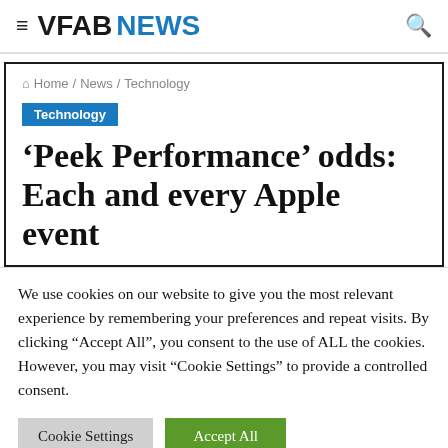VFAB NEWS
Home / News / Technology
Technology
‘Peek Performance’ odds: Each and every Apple event
We use cookies on our website to give you the most relevant experience by remembering your preferences and repeat visits. By clicking “Accept All”, you consent to the use of ALL the cookies. However, you may visit “Cookie Settings” to provide a controlled consent.
Cookie Settings | Accept All